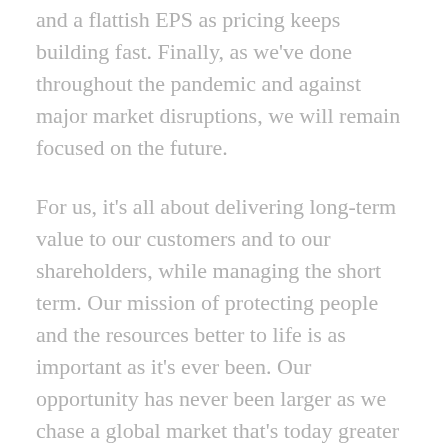and a flattish EPS as pricing keeps building fast. Finally, as we've done throughout the pandemic and against major market disruptions, we will remain focused on the future.
For us, it's all about delivering long-term value to our customers and to our shareholders, while managing the short term. Our mission of protecting people and the resources better to life is as important as it's ever been. Our opportunity has never been larger as we chase a global market that's today greater than $150 billion and growing fast. We have the confidence that we will look back on this period and truly feel we did the right things the right way by protecting our teams and our customers when they needed us the most and by